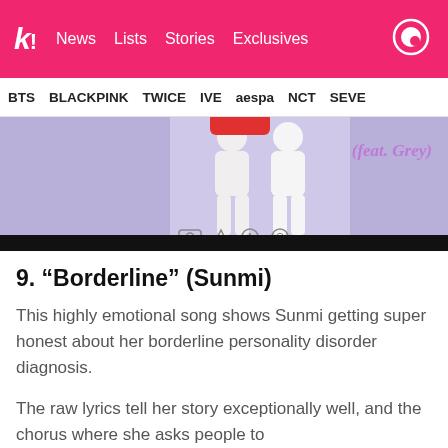k! News  Lists  Stories  Exclusives
BTS  BLACKPINK  TWICE  IVE  aespa  NCT  SEVE
[Figure (photo): Photo showing two people in white outfits against a purple/lavender background, with text '(feat. Grey)' in purple cursive on the right side. Below is a black bar. This appears to be promotional imagery for a music release.]
9. “Borderline” (Sunmi)
This highly emotional song shows Sunmi getting super honest about her borderline personality disorder diagnosis.
The raw lyrics tell her story exceptionally well, and the chorus where she asks people to